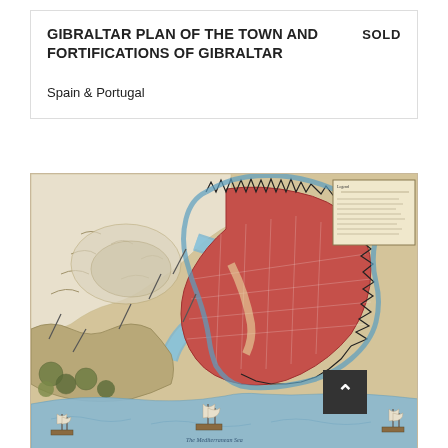GIBRALTAR PLAN OF THE TOWN AND FORTIFICATIONS OF GIBRALTAR
SOLD
Spain & Portugal
[Figure (map): Historical map of Gibraltar showing the town and fortifications. The map depicts the fortified peninsula with red-colored buildings and city blocks, defensive walls with spiky bastions, a blue water channel, surrounding terrain, and ships sailing in the Mediterranean Sea at the bottom. A legend/key box is visible in the upper right corner of the map.]